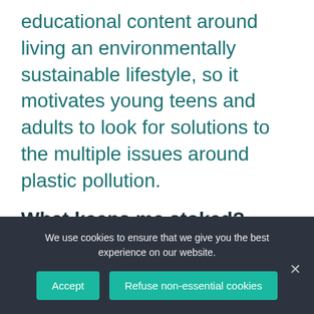educational content around living an environmentally sustainable lifestyle, so it motivates young teens and adults to look for solutions to the multiple issues around plastic pollution.
What keeps me stoked?
I stay stoked by living in the present moment because we have a limited time on earth, so why not experience all that we can and look to become a
We use cookies to ensure that we give you the best experience on our website.